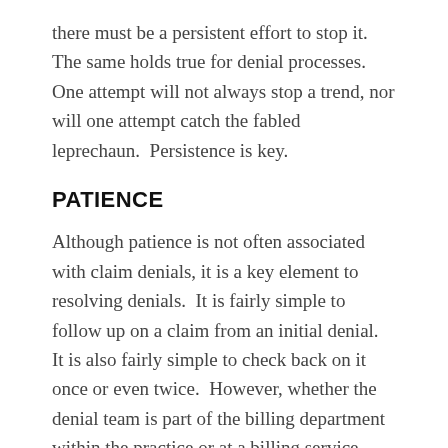there must be a persistent effort to stop it.  The same holds true for denial processes.  One attempt will not always stop a trend, nor will one attempt catch the fabled leprechaun.  Persistence is key.
PATIENCE
Although patience is not often associated with claim denials, it is a key element to resolving denials.  It is fairly simple to follow up on a claim from an initial denial.  It is also fairly simple to check back on it once or even twice.  However, whether the denial team is part of the billing department within the practice or at a billing service outside the practice, not many will continue the follow up for months to ensure the denial is resolved and the money is paid to the